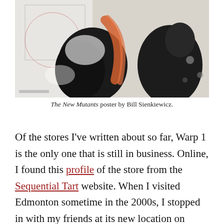[Figure (illustration): The New Mutants poster by Bill Sienkiewicz — an abstract/expressionist painted image with dark figures, white and grey areas with geometric lines, and orange/red brush strokes.]
The New Mutants poster by Bill Sienkiewicz.
Of the stores I've written about so far, Warp 1 is the only one that is still in business. Online, I found this profile of the store from the Sequential Tart website. When I visited Edmonton sometime in the 2000s, I stopped in with my friends at its new location on Whyte Avenue at 99th Street. It was still a solid shop, though it had changed with the times to be more focused on graphic novels than back issues, even then. Warp 1 is still open, and has two additional locations called Warp